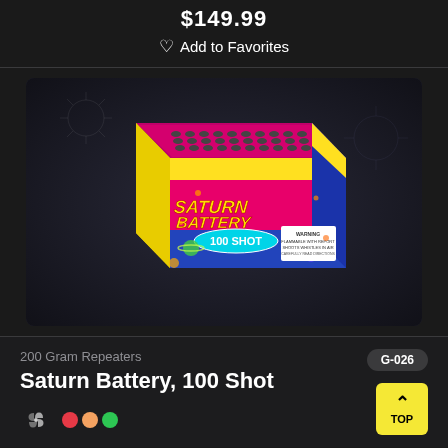♡ Add to Favorites
[Figure (photo): Saturn Battery 100 Shot fireworks product box. A colorful box with yellow, pink, blue and purple design. The top shows many grey shell tubes in a pink/magenta grid. The front label reads SATURN BATTERY in large pink/red letters with 100 SHOT in a cyan oval badge. Blue sides decorated with planets and stars. A warning label is visible on the front right. The box sits on a dark grey/black background with subtle fireworks imagery.]
200 Gram Repeaters
G-026
Saturn Battery, 100 Shot
TOP